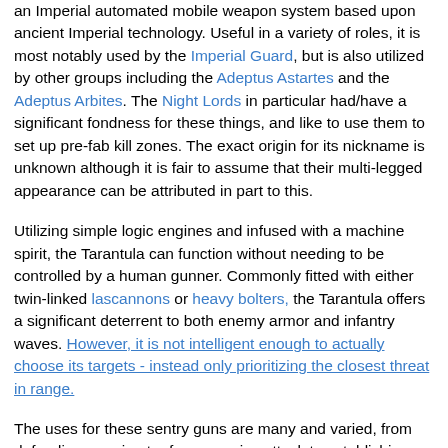an Imperial automated mobile weapon system based upon ancient Imperial technology. Useful in a variety of roles, it is most notably used by the Imperial Guard, but is also utilized by other groups including the Adeptus Astartes and the Adeptus Arbites. The Night Lords in particular had/have a significant fondness for these things, and like to use them to set up pre-fab kill zones. The exact origin for its nickname is unknown although it is fair to assume that their multi-legged appearance can be attributed in part to this.
Utilizing simple logic engines and infused with a machine spirit, the Tarantula can function without needing to be controlled by a human gunner. Commonly fitted with either twin-linked lascannons or heavy bolters, the Tarantula offers a significant deterrent to both enemy armor and infantry waves. However, it is not intelligent enough to actually choose its targets - instead only prioritizing the closest threat in range.
The uses for these sentry guns are many and varied, from defending a perimeter from surprise attack to establishing a roadblock or operating as part of a static defensive line.